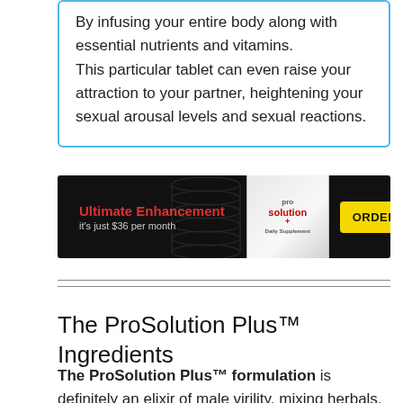By infusing your entire body along with essential nutrients and vitamins.

This particular tablet can even raise your attraction to your partner, heightening your sexual arousal levels and sexual reactions.
[Figure (infographic): Advertisement banner for ProSolution+ supplement. Black background with red text 'Ultimate Enhancement' and grey text 'it's just $36 per month' on the left. Center shows product box and packaging with DNA helix graphic. Right side has yellow button with 'ORDER NOW' in black bold text.]
The ProSolution Plus™ Ingredients
The ProSolution Plus™ formulation is definitely an elixir of male virility, mixing herbals, minerals, nutrients and vitamins employed for over 4,000 years...